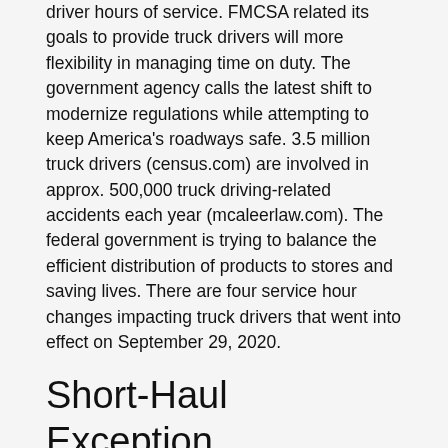driver hours of service. FMCSA related its goals to provide truck drivers will more flexibility in managing time on duty. The government agency calls the latest shift to modernize regulations while attempting to keep America's roadways safe. 3.5 million truck drivers (census.com) are involved in approx. 500,000 truck driving-related accidents each year (mcaleerlaw.com). The federal government is trying to balance the efficient distribution of products to stores and saving lives. There are four service hour changes impacting truck drivers that went into effect on September 29, 2020.
Short-Haul Exception
Previously, truck drivers using the short-haul exception were not allowed on-duty for more than 12 hours or able drive beyond a 100 air-mile radius, or 115 miles. If those limits were exceeded, the exception would end, and drivers were required to complete a record of duty status (RODS) and take a 30-minute break. Additionally, if a driver exceeded short-haul exception limits for more than eight days in any consecutive 30-day period, an electronic logging device (ELD) is required.
The new rule extends truck driver workdays from 12 to 14 hours